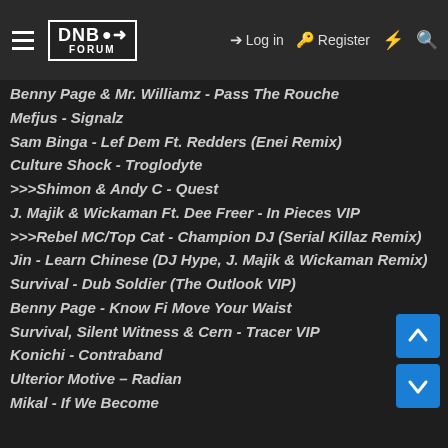DNB FORUM — Log in | Register
Benny Page & Mr. Williamz - Pass The Rouche
Mefjus - Signalz
Sam Binga - Lef Dem Ft. Redders (Enei Remix)
Culture Shock - Troglodyte
>>>Shimon & Andy C - Quest
J. Majik & Wickaman Ft. Dee Freer - In Pieces VIP
>>>Rebel MC/Top Cat - Champion DJ (Serial Killaz Remix)
Jin - Learn Chinese (DJ Hype, J. Majik & Wickaman Remix)
Survival - Dub Soldier (The Outlook VIP)
Benny Page - Know Fi Move Your Waist
Survival, Silent Witness & Cern - Tracer VIP
Konichi - Contraband
Ulterior Motive - Radian
Mikal - If We Become